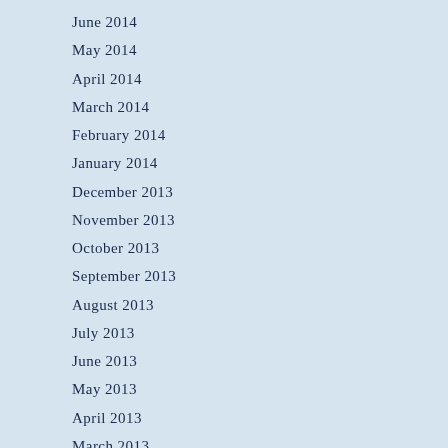June 2014
May 2014
April 2014
March 2014
February 2014
January 2014
December 2013
November 2013
October 2013
September 2013
August 2013
July 2013
June 2013
May 2013
April 2013
March 2013
February 2013
January 2013
December…